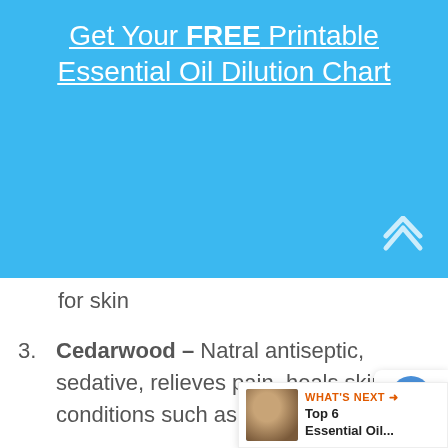Get Your FREE Printable Essential Oil Dilution Chart
for skin
3. Cedarwood – Natral antiseptic, sedative, relieves pain, heals skin conditions such as ezcema
4. Chamomile Roman – Calmin, uplifting, digestive support
5. Chamomile German – Soothes irritated skin, relieves bug bites and stings, reduces swelling